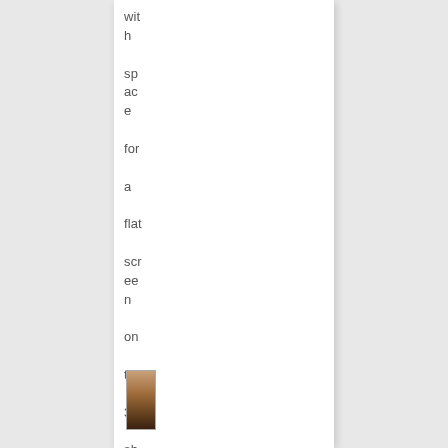with space for a flat screen on the 3rd shelf
[Figure (photo): Small thumbnail photo, appears to show a bookshelf or furniture item]